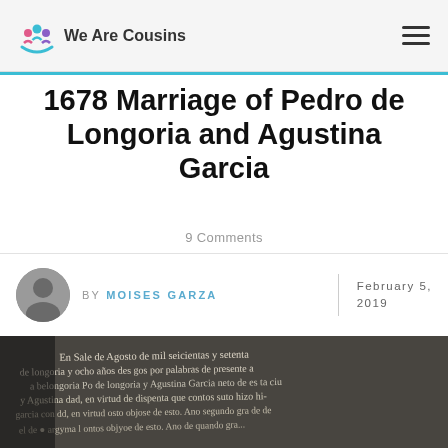We Are Cousins
1678 Marriage of Pedro de Longoria and Agustina Garcia
9 Comments
BY MOISES GARZA | February 5, 2019
[Figure (photo): Scanned handwritten historical marriage document from 1678, showing cursive Spanish text in black ink on aged paper]